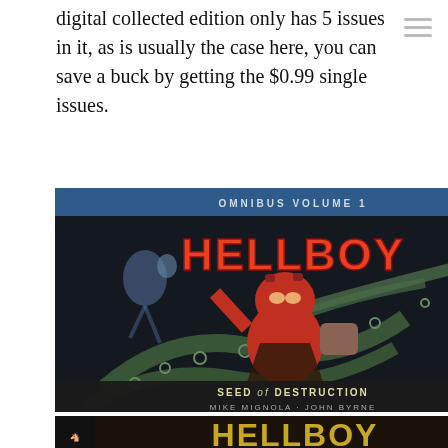digital collected edition only has 5 issues in it, as is usually the case here, you can save a buck by getting the $0.99 single issues.
[Figure (photo): Hellboy Omnibus Volume 1: Seed of Destruction book cover by Mike Mignola and John Byrne. Dark cover showing Hellboy (red demonic figure) fighting tentacles with a ghostly figure in the background. Blue header reads 'OMNIBUS VOLUME 1' and title 'HELLBOY' in large orange/red letters. Bottom text: 'SEED of DESTRUCTION / MIKE MIGNOLA · JOHN BYRNE'.]
[Figure (photo): Partial view of a Hellboy single issue comic book cover showing the title 'HELLBOY' in gold letters on a dark background, partially cropped at the bottom of the page.]